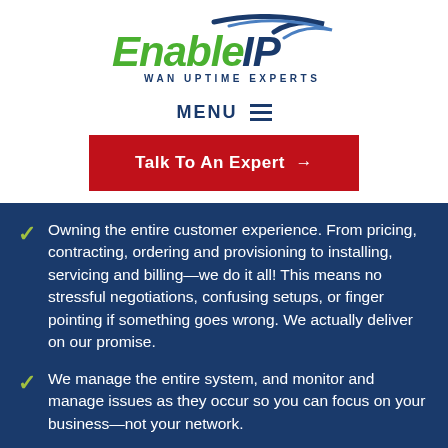[Figure (logo): EnableIP logo with 'WAN UPTIME EXPERTS' tagline, green and dark blue text with swoosh graphic]
MENU ≡
Talk To An Expert →
Owning the entire customer experience. From pricing, contracting, ordering and provisioning to installing, servicing and billing—we do it all! This means no stressful negotiations, confusing setups, or finger pointing if something goes wrong. We actually deliver on our promise.
We manage the entire system, and monitor and manage issues as they occur so you can focus on your business—not your network.
The EnableIP solution is like no other. Contact us